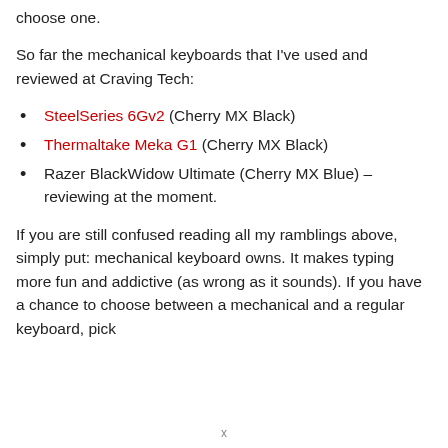choose one.
So far the mechanical keyboards that I've used and reviewed at Craving Tech:
SteelSeries 6Gv2 (Cherry MX Black)
Thermaltake Meka G1 (Cherry MX Black)
Razer BlackWidow Ultimate (Cherry MX Blue) – reviewing at the moment.
If you are still confused reading all my ramblings above, simply put: mechanical keyboard owns. It makes typing more fun and addictive (as wrong as it sounds). If you have a chance to choose between a mechanical and a regular keyboard, pick
x